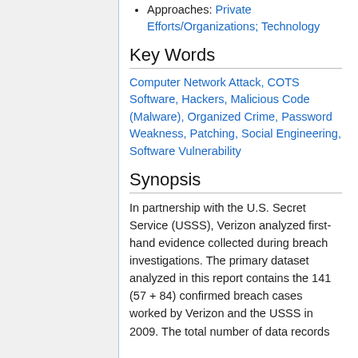Approaches: Private Efforts/Organizations; Technology
Key Words
Computer Network Attack, COTS Software, Hackers, Malicious Code (Malware), Organized Crime, Password Weakness, Patching, Social Engineering, Software Vulnerability
Synopsis
In partnership with the U.S. Secret Service (USSS), Verizon analyzed first-hand evidence collected during breach investigations. The primary dataset analyzed in this report contains the 141 (57 + 84) confirmed breach cases worked by Verizon and the USSS in 2009. The total number of data records